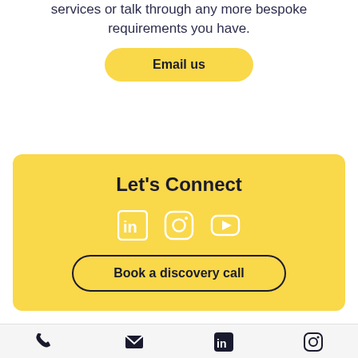services or talk through any more bespoke requirements you have.
Email us
Let's Connect
[Figure (infographic): Three social media icons: LinkedIn, Instagram, YouTube — white outlines on yellow background]
Book a discovery call
Footer bar with phone, email, LinkedIn, and Instagram icons